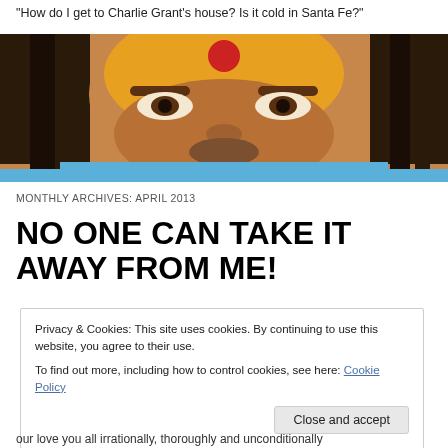"How do I get to Charlie Grant's house? Is it cold in Santa Fe?"
[Figure (photo): Close-up portrait of a person with colorful face paint — yellow and other colors — wearing blue clothing, with dark dreadlocked hair.]
MONTHLY ARCHIVES: APRIL 2013
NO ONE CAN TAKE IT AWAY FROM ME!
Privacy & Cookies: This site uses cookies. By continuing to use this website, you agree to their use.
To find out more, including how to control cookies, see here: Cookie Policy
Close and accept
our love you all irrationally, thoroughly and unconditionally